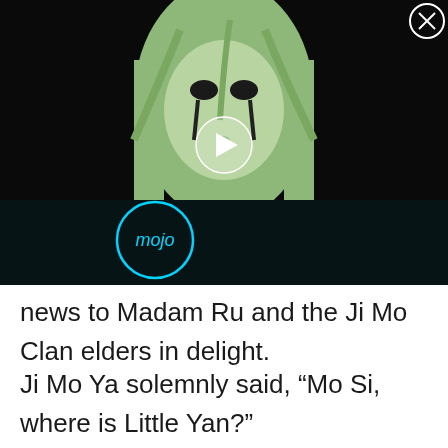[Figure (screenshot): A video player screenshot showing an anime character with long light-colored hair and dark markings around the eyes, with a play button overlay in the center and a 'mojo' logo watermark in the lower left. The background is dark/black. A close button (X in a circle) is visible in the upper right corner.]
news to Madam Ru and the Ji Mo Clan elders in delight.
Ji Mo Ya solemnly said, “Mo Si, where is Little Yan?”
Mo Si, who has hidden his presence, suddenly walked out from a dark corner causing Bai Li Zi Xi to jumped in shock, she had only detected the